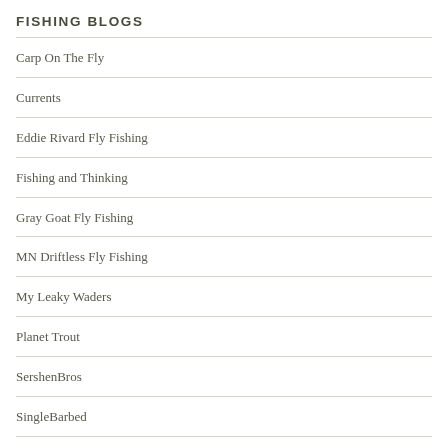FISHING BLOGS
Carp On The Fly
Currents
Eddie Rivard Fly Fishing
Fishing and Thinking
Gray Goat Fly Fishing
MN Driftless Fly Fishing
My Leaky Waders
Planet Trout
SershenBros
SingleBarbed
SwittersB's Weblog